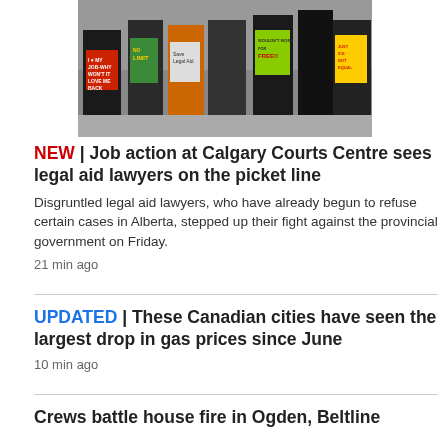[Figure (photo): Protesters holding signs including 'I love my job – why won't it love me back', 'Save Legal Aid', 'No Limit', and 'Wouldn't work for free' at what appears to be a picket line outside the Calgary Courts Centre]
NEW | Job action at Calgary Courts Centre sees legal aid lawyers on the picket line
Disgruntled legal aid lawyers, who have already begun to refuse certain cases in Alberta, stepped up their fight against the provincial government on Friday.
21 min ago
UPDATED | These Canadian cities have seen the largest drop in gas prices since June
10 min ago
Crews battle house fire in Ogden, Beltline